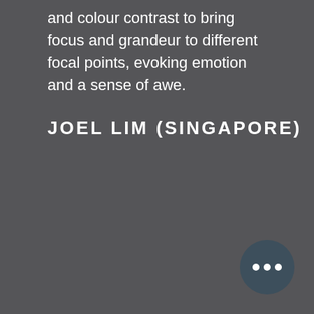and colour contrast to bring focus and grandeur to different focal points, evoking emotion and a sense of awe.
JOEL LIM (SINGAPORE)
[Figure (illustration): Chat bubble icon — a dark circular button with three white dots indicating a messaging/chat interface element, positioned in the bottom-right corner.]